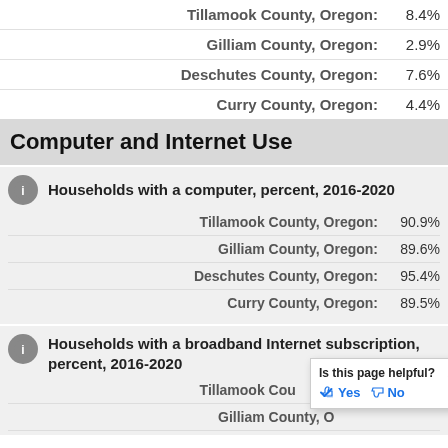Tillamook County, Oregon: 8.4%
Gilliam County, Oregon: 2.9%
Deschutes County, Oregon: 7.6%
Curry County, Oregon: 4.4%
Computer and Internet Use
Households with a computer, percent, 2016-2020
Tillamook County, Oregon: 90.9%
Gilliam County, Oregon: 89.6%
Deschutes County, Oregon: 95.4%
Curry County, Oregon: 89.5%
Households with a broadband Internet subscription, percent, 2016-2020
Tillamook County, Oregon: (partial)
Gilliam County, Oregon: (partial)